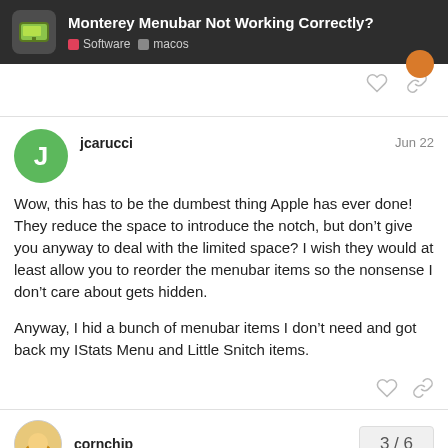Monterey Menubar Not Working Correctly? | Software | macos
Wow, this has to be the dumbest thing Apple has ever done! They reduce the space to introduce the notch, but don't give you anyway to deal with the limited space? I wish they would at least allow you to reorder the menubar items so the nonsense I don't care about gets hidden.

Anyway, I hid a bunch of menubar items I don't need and got back my IStats Menu and Little Snitch items.
jcarucci  Jun 22
cornchip
3 / 6